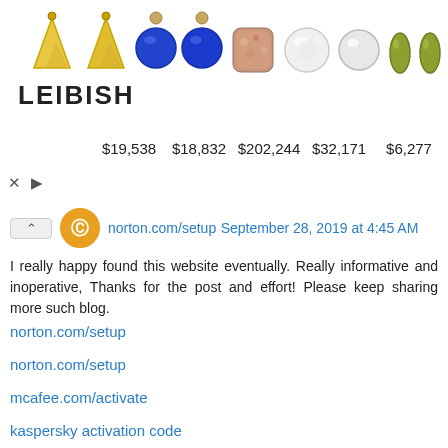[Figure (other): Leibish jewelry advertisement banner showing yellow diamond earrings, blue sapphire earrings, rose gold stud, white diamond stud, diamond studs, and green drop gemstones with prices $19,538 $18,832 $202,244 $32,171 $6,277]
norton.com/setup September 28, 2019 at 4:45 AM
I really happy found this website eventually. Really informative and inoperative, Thanks for the post and effort! Please keep sharing more such blog.
norton.com/setup
norton.com/setup
mcafee.com/activate
kaspersky activation code
free pogo games
roadrunner email